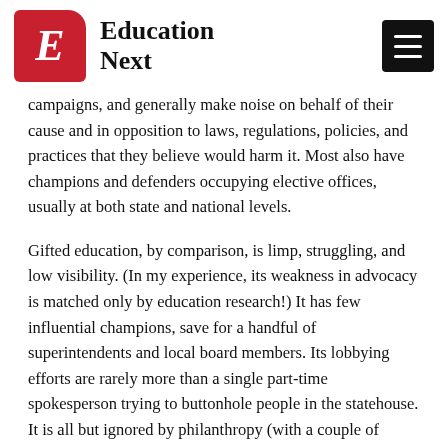Education Next
campaigns, and generally make noise on behalf of their cause and in opposition to laws, regulations, policies, and practices that they believe would harm it. Most also have champions and defenders occupying elective offices, usually at both state and national levels.
Gifted education, by comparison, is limp, struggling, and low visibility. (In my experience, its weakness in advocacy is matched only by education research!) It has few influential champions, save for a handful of superintendents and local board members. Its lobbying efforts are rarely more than a single part-time spokesperson trying to buttonhole people in the statehouse. It is all but ignored by philanthropy (with a couple of honorable exceptions such as the Jack Kent Cooke and Lynde & Harry Bradley Foundations). And its membership organizations are small, low-budget, thin...